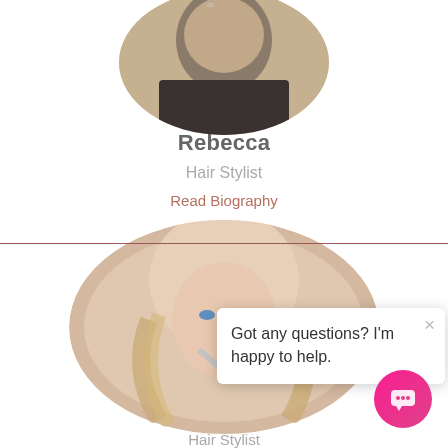[Figure (photo): Circular cropped profile photo of Rebecca, a hair stylist, wearing dark clothing, partially visible at top of page]
Rebecca
Hair Stylist
Read Biography
[Figure (photo): Oval cropped profile photo of Lindsay, a hair stylist, blonde woman looking at camera]
[Figure (logo): Divinity Salon circular logo watermark overlaid on photo]
Got any questions? I'm happy to help.
Lindsay
Hair Stylist